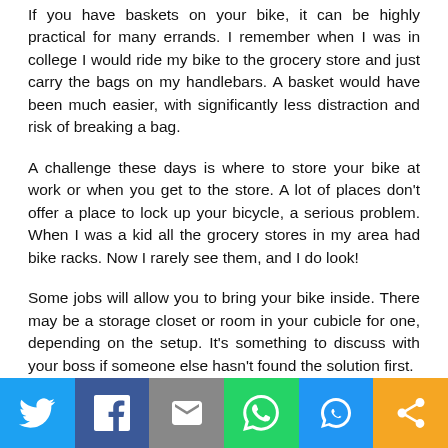If you have baskets on your bike, it can be highly practical for many errands. I remember when I was in college I would ride my bike to the grocery store and just carry the bags on my handlebars. A basket would have been much easier, with significantly less distraction and risk of breaking a bag.
A challenge these days is where to store your bike at work or when you get to the store. A lot of places don't offer a place to lock up your bicycle, a serious problem. When I was a kid all the grocery stores in my area had bike racks. Now I rarely see them, and I do look!
Some jobs will allow you to bring your bike inside. There may be a storage closet or room in your cubicle for one, depending on the setup. It's something to discuss with your boss if someone else hasn't found the solution first.
Stores can be more challenging. Most have trees in the parking lot, and many people use a cable to gently attach the bike to the tree. But no matter where you lock up your bike, make sure that
[Figure (infographic): Social sharing bar with buttons for Twitter (blue), Facebook (dark blue), Email (grey), WhatsApp (green), SMS (blue), and More (orange)]